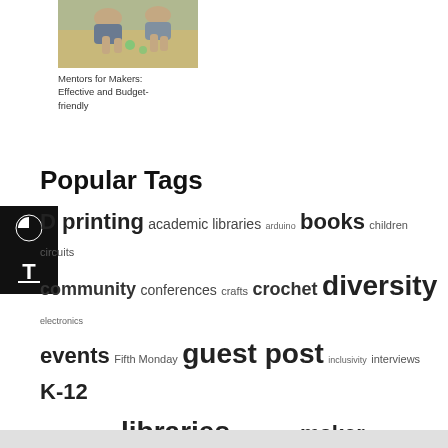[Figure (photo): Two people working with small objects at a table, viewed from above, in a makerspace or craft setting.]
Mentors for Makers: Effective and Budget-friendly
Popular Tags
3D printing academic libraries arduino books children circuits community conferences crafts crochet diversity electronics events Fifth Monday guest post inclusivity interviews K-12 knitting LGBTQ libraries makerbridge maker culture maker events maker faires maker learning maker movement makers makerspaces Michigan Makers news online tool partnerships people of color photos projects resources review schools software tools video websites welcome women